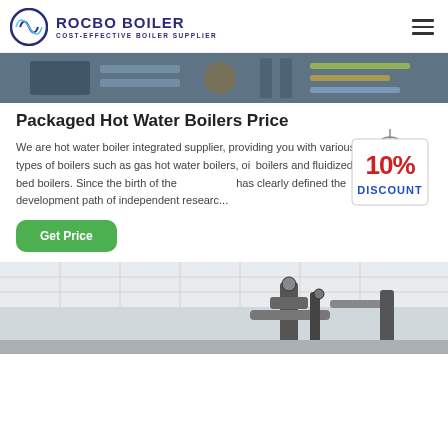ROCBO BOILER — COST-EFFECTIVE BOILER SUPPLIER
[Figure (photo): Industrial boiler machinery and pipes, top banner image]
Packaged Hot Water Boilers Price
We are hot water boiler integrated supplier, providing you with various types of boilers such as gas hot water boilers, oil boilers and fluidized bed boilers. Since the birth of the has clearly defined the development path of independent researc...
[Figure (infographic): 10% DISCOUNT badge/sticker overlay]
Get Price
[Figure (photo): Industrial boiler equipment in a facility, bottom image]